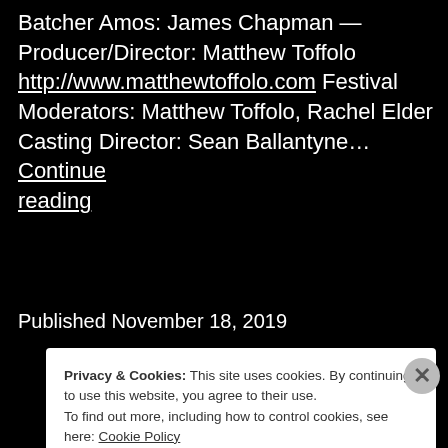Batcher Amos: James Chapman — Producer/Director: Matthew Toffolo http://www.matthewtoffolo.com Festival Moderators: Matthew Toffolo, Rachel Elder Casting Director: Sean Ballantyne… Continue reading
Published November 18, 2019
Privacy & Cookies: This site uses cookies. By continuing to use this website, you agree to their use. To find out more, including how to control cookies, see here: Cookie Policy
Close and accept